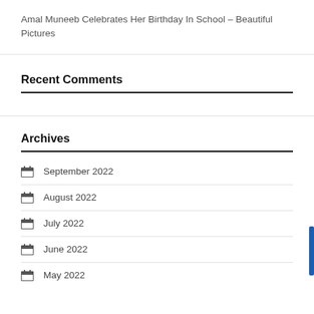Amal Muneeb Celebrates Her Birthday In School – Beautiful Pictures
Recent Comments
Archives
September 2022
August 2022
July 2022
June 2022
May 2022